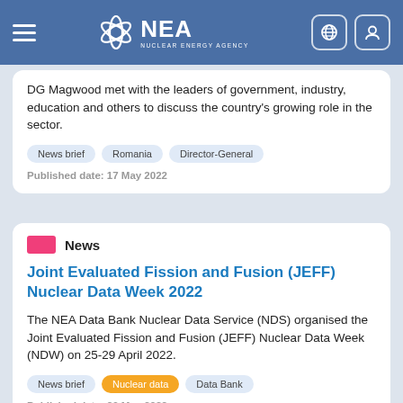NEA - Nuclear Energy Agency
DG Magwood met with the leaders of government, industry, education and others to discuss the country's growing role in the sector.
News brief | Romania | Director-General
Published date: 17 May 2022
News
Joint Evaluated Fission and Fusion (JEFF) Nuclear Data Week 2022
The NEA Data Bank Nuclear Data Service (NDS) organised the Joint Evaluated Fission and Fusion (JEFF) Nuclear Data Week (NDW) on 25-29 April 2022.
News brief | Nuclear data | Data Bank
Published date: 20 May 2022